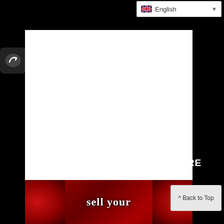[Figure (screenshot): Language selector dropdown showing English with UK flag]
[Figure (other): Dark circular back navigation button with arrow icon]
[Figure (other): Large white content/advertisement embed area]
SELL YOUR WITCHY SPELLS HERE
[Figure (photo): Banner image with red roses background and text 'sell your' in white decorative font with a candle/glass object visible]
[Figure (other): Back to Top button]